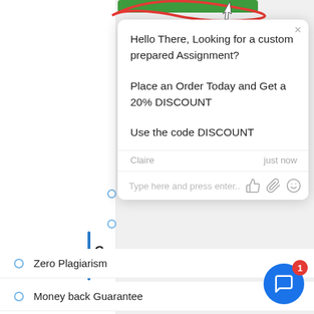[Figure (screenshot): Chat widget popup screenshot showing promotional message, sender info, input area, and avatar]
Hello There, Looking for a custom prepared Assignment?
Place an Order Today and Get a 20% DISCOUNT
Use the code DISCOUNT
Claire   just now
Type here and press enter..
Zero Plagiarism
Money back Guarantee